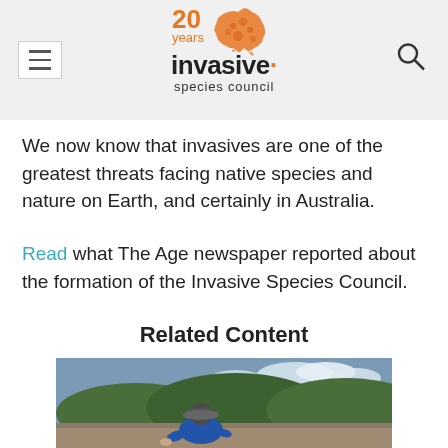Invasive Species Council — 20 years
We now know that invasives are one of the greatest threats facing native species and nature on Earth, and certainly in Australia.
Read what The Age newspaper reported about the formation of the Invasive Species Council.
Related Content
[Figure (photo): Person wearing a grey hat and blue jacket crouching outdoors with green hillside vegetation and cloudy sky in the background.]